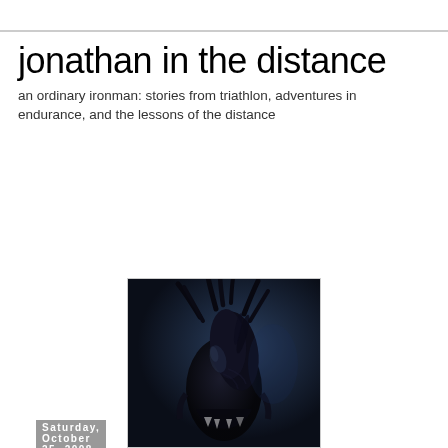jonathan in the distance
an ordinary ironman: stories from triathlon, adventures in endurance, and the lessons of the distance
Saturday, October 25, 2008
sick!
[Figure (photo): Dark science-fiction creature (xenomorph/alien) with black exoskeleton, elongated head, and sharp protrusions, photographed against a blue-dark background]